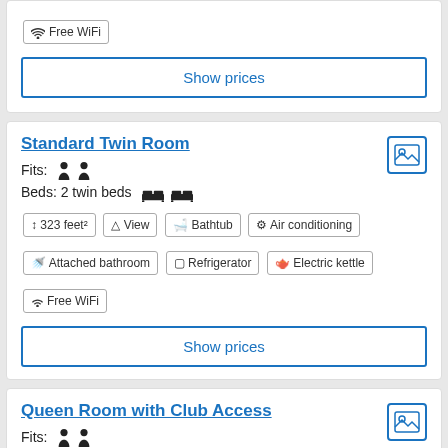Free WiFi
Show prices
Standard Twin Room
Fits: (2 person icons)
Beds: 2 twin beds
323 feet²
View
Bathtub
Air conditioning
Attached bathroom
Refrigerator
Electric kettle
Free WiFi
Show prices
Queen Room with Club Access
Fits: (2 person icons)